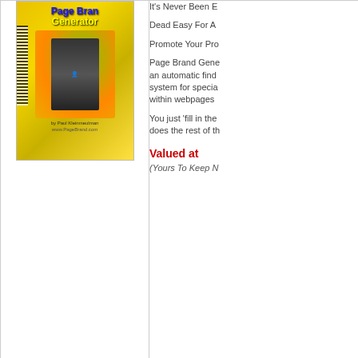[Figure (photo): Page Brand Generator product box with yellow and green design, featuring a man at a computer. By Paul Kleinmeulman. www.PageBrand.com]
It's Never Been E Dead Easy For A Promote Your Pro Page Brand Gene an automatic find system for specia within webpages You just 'fill in the does the rest of th
Valued at
(Yours To Keep N
Product #12
"How To Cash In W/ Your Own
Now's Your Chance next big marketing